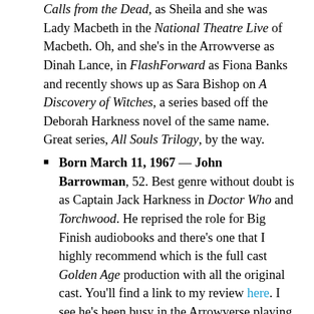Calls from the Dead, as Sheila and she was Lady Macbeth in the National Theatre Live of Macbeth. Oh, and she's in the Arrowverse as Dinah Lance, in FlashForward as Fiona Banks and recently shows up as Sara Bishop on A Discovery of Witches, a series based off the Deborah Harkness novel of the same name. Great series, All Souls Trilogy, by the way.
Born March 11, 1967 — John Barrowman, 52. Best genre without doubt is as Captain Jack Harkness in Doctor Who and Torchwood.  He reprised the role for Big Finish audiobooks and there's one that I highly recommend which is the full cast Golden Age production with all the original cast. You'll find a link to my review here. I see he's been busy in the Arrowverse playing three different characters (I think as I confess I'm not watching it currently)  in the form of Malcolm Merlyn / Dark Archer / Ra's al Ghul. He's also had a long history in theatre, so he's been in Beauty and the Beast as The Beast / The Prince, Jack and The Bean Stalk as Jack, Aladdinas, well, Aladdinand Cinderella as